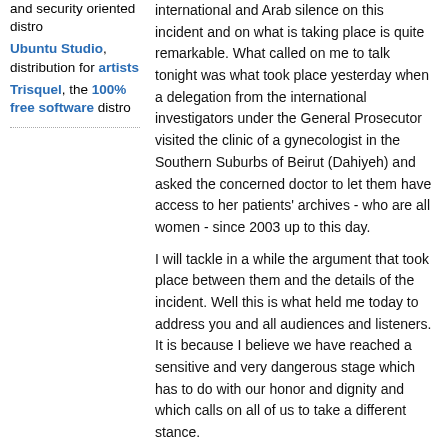and security oriented distro
Ubuntu Studio, distribution for artists
Trisquel, the 100% free software distro
international and Arab silence on this incident and on what is taking place is quite remarkable. What called on me to talk tonight was what took place yesterday when a delegation from the international investigators under the General Prosecutor visited the clinic of a gynecologist in the Southern Suburbs of Beirut (Dahiyeh) and asked the concerned doctor to let them have access to her patients' archives - who are all women - since 2003 up to this day.
I will tackle in a while the argument that took place between them and the details of the incident. Well this is what held me today to address you and all audiences and listeners. It is because I believe we have reached a sensitive and very dangerous stage which has to do with our honor and dignity and which calls on all of us to take a different stance.
In fact, I did not wish to talk today had it not been for the local and foreign reactions and from high levels which I watched and heard yesterday.
Today also there were more reactions whether